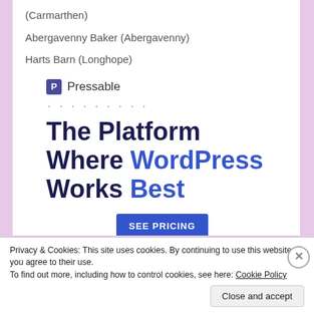(Carmarthen)
Abergavenny Baker (Abergavenny)
Harts Barn (Longhope)
[Figure (logo): Pressable logo with blue P icon and name, followed by dots, then ad headline: The Platform Where WordPress Works Best, and a SEE PRICING button]
Privacy & Cookies: This site uses cookies. By continuing to use this website, you agree to their use.
To find out more, including how to control cookies, see here: Cookie Policy
Close and accept